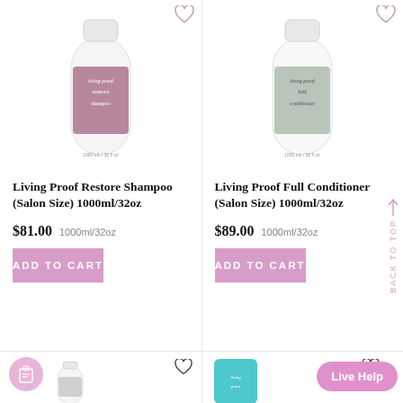[Figure (photo): Living Proof Restore Shampoo bottle, salon size, lavender/mauve label]
Living Proof Restore Shampoo (Salon Size) 1000ml/32oz
$81.00   1000ml/32oz
ADD TO CART
[Figure (photo): Living Proof Full Conditioner bottle, salon size, grey/green label]
Living Proof Full Conditioner (Salon Size) 1000ml/32oz
$89.00   1000ml/32oz
ADD TO CART
[Figure (photo): Partial view of another Living Proof bottle at bottom left]
[Figure (photo): Partial view of a teal Living Proof tube at bottom right]
Live Help